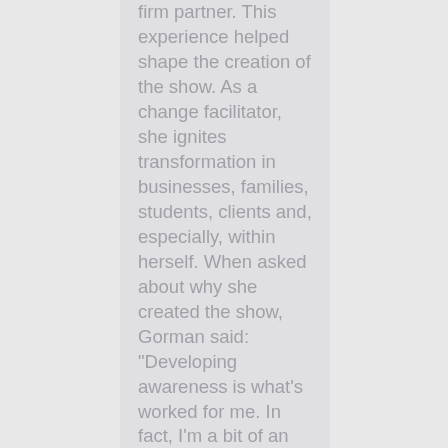firm partner. This experience helped shape the creation of the show. As a change facilitator, she ignites transformation in businesses, families, students, clients and, especially, within herself. When asked about why she created the show, Gorman said: "Developing awareness is what's worked for me. In fact, I'm a bit of an Awareness Addict. And, I'm hoping you'll become addicted too."